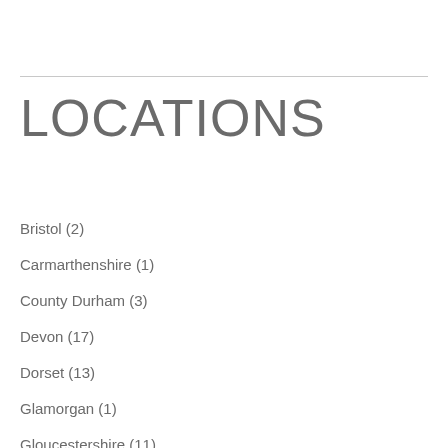LOCATIONS
Bristol (2)
Carmarthenshire (1)
County Durham (3)
Devon (17)
Dorset (13)
Glamorgan (1)
Gloucestershire (11)
Lancashire (5)